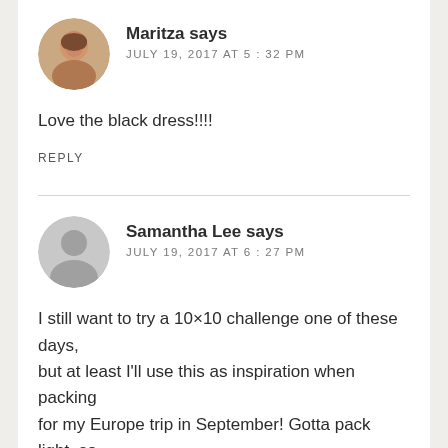[Figure (photo): Circular avatar photo of Maritza, a woman with dark hair]
Maritza says
JULY 19, 2017 AT 5:32 PM
Love the black dress!!!!
REPLY
[Figure (illustration): Generic grey circular avatar placeholder for Samantha Lee]
Samantha Lee says
JULY 19, 2017 AT 6:27 PM
I still want to try a 10×10 challenge one of these days, but at least I'll use this as inspiration when packing for my Europe trip in September! Gotta pack light, so I can bring more goodies home. ;)
http://...